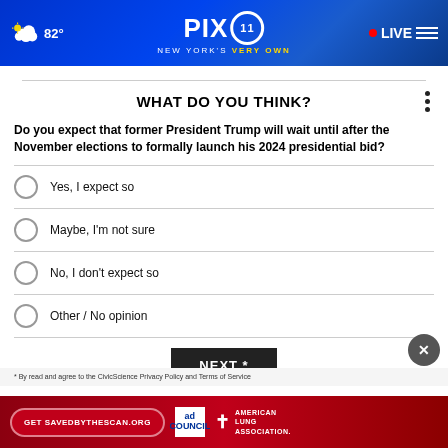[Figure (screenshot): PIX11 news website header with weather showing 82 degrees, PIX11 logo center, LIVE indicator and menu icon on right, blue gradient background with city skyline]
WHAT DO YOU THINK?
Do you expect that former President Trump will wait until after the November elections to formally launch his 2024 presidential bid?
Yes, I expect so
Maybe, I'm not sure
No, I don't expect so
Other / No opinion
NEXT *
* By read and agree to the CivicScience Privacy Policy and Terms of Service